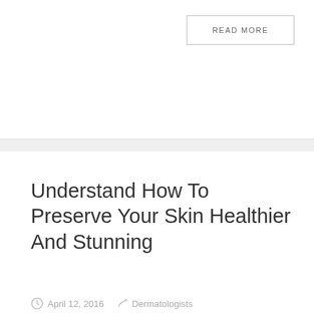READ MORE
Understand How To Preserve Your Skin Healthier And Stunning
April 12, 2016   Dermatologists
An outbreak can make you feel hideous and self-mindful. By utilizing the ideas presented right here, you will begin to restrict your difficulties with acne breakouts, and you will start to really feel more relaxed with healthy, glowing pores and skin. Do